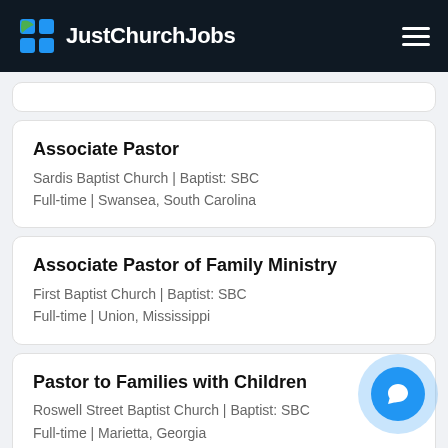JustChurchJobs
Associate Pastor
Sardis Baptist Church | Baptist: SBC
Full-time | Swansea, South Carolina
Associate Pastor of Family Ministry
First Baptist Church | Baptist: SBC
Full-time | Union, Mississippi
Pastor to Families with Children
Roswell Street Baptist Church | Baptist: SBC
Full-time | Marietta, Georgia